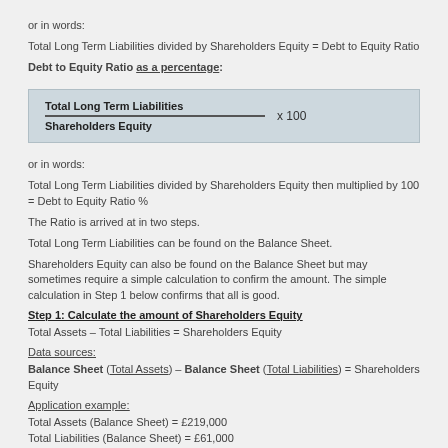or in words:
Total Long Term Liabilities divided by Shareholders Equity = Debt to Equity Ratio
Debt to Equity Ratio as a percentage:
or in words:
Total Long Term Liabilities divided by Shareholders Equity then multiplied by 100 = Debt to Equity Ratio %
The Ratio is arrived at in two steps.
Total Long Term Liabilities can be found on the Balance Sheet.
Shareholders Equity can also be found on the Balance Sheet but may sometimes require a simple calculation to confirm the amount. The simple calculation in Step 1 below confirms that all is good.
Step 1: Calculate the amount of Shareholders Equity
Total Assets – Total Liabilities = Shareholders Equity
Data sources:
Balance Sheet (Total Assets) – Balance Sheet (Total Liabilities) = Shareholders Equity
Application example:
Total Assets (Balance Sheet) = £219,000
Total Liabilities (Balance Sheet) = £61,000
£219,000 – £61,000 = £158,000
or in words